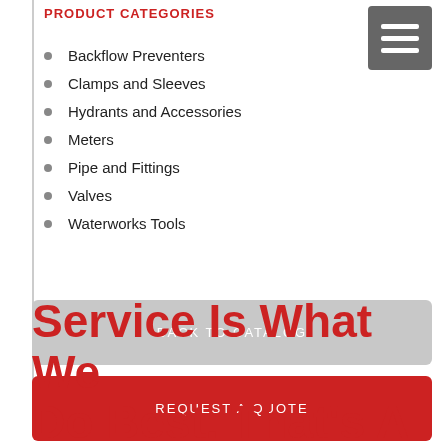PRODUCT CATEGORIES
Backflow Preventers
Clamps and Sleeves
Hydrants and Accessories
Meters
Pipe and Fittings
Valves
Waterworks Tools
BACK TO CATALOG
REQUEST A QUOTE
Service Is What We Do Best. That's A